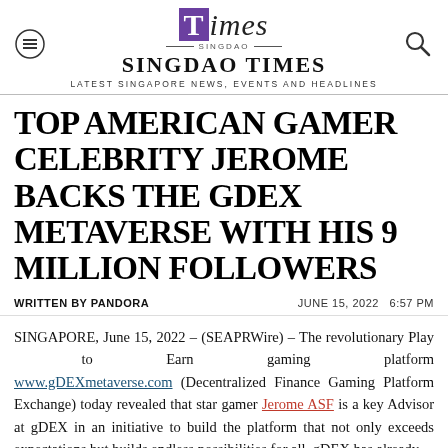SINGDAO TIMES — LATEST SINGAPORE NEWS, EVENTS AND HEADLINES
TOP AMERICAN GAMER CELEBRITY JEROME BACKS THE GDEX METAVERSE WITH HIS 9 MILLION FOLLOWERS
WRITTEN BY PANDORA    JUNE 15, 2022  6:57 PM
SINGAPORE, June 15, 2022 – (SEAPRWire) – The revolutionary Play to Earn gaming platform www.gDEXmetaverse.com (Decentralized Finance Gaming Platform Exchange) today revealed that star gamer Jerome ASF is a key Advisor at gDEX in an initiative to build the platform that not only exceeds expectations but builds endless possibilities for all. gDEX has already